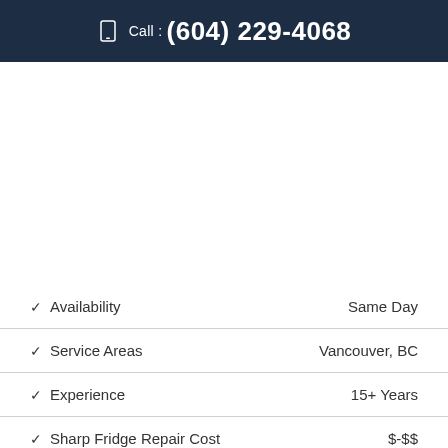Call : (604) 229-4068
| Feature | Value |
| --- | --- |
| ✓  Availability | Same Day |
| ✓  Service Areas | Vancouver, BC |
| ✓  Experience | 15+ Years |
| ✓  Sharp Fridge Repair Cost | $-$$ |
| ✓  Sharp Oven Repair Cost | $-$$ |